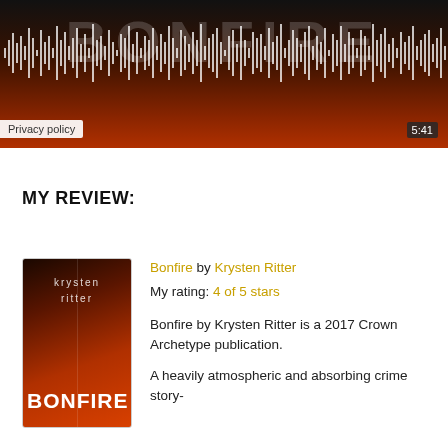[Figure (screenshot): Audio player with waveform visualization showing the Bonfire audiobook. Dark/fiery background with white waveform bars, 'Privacy policy' badge bottom-left, '5:41' time badge bottom-right.]
MY REVIEW:
[Figure (photo): Book cover of Bonfire by Krysten Ritter — dark red/orange fiery background with author name and title text]
Bonfire by Krysten Ritter
My rating: 4 of 5 stars

Bonfire by Krysten Ritter is a 2017 Crown Archetype publication.

A heavily atmospheric and absorbing crime story-